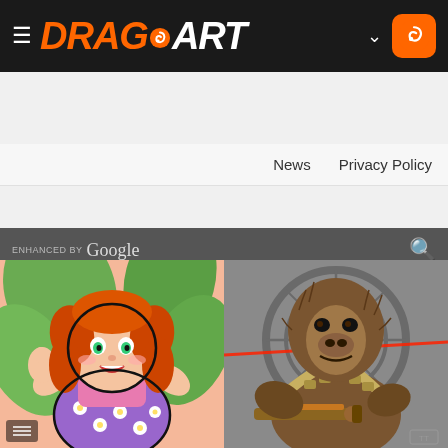DRAGOART
News   Privacy Policy
enhanced by Google
[Figure (illustration): Partial banner image with red block and text reading 'WARS ARTIST']
More From MichaelY
[Figure (illustration): Cartoon illustration of a red-haired girl in a purple floral dress giving thumbs up, Cabbage Patch style]
[Figure (illustration): Digital illustration of Chewbacca from Star Wars holding a weapon, in grayscale with Star Wars design element background]